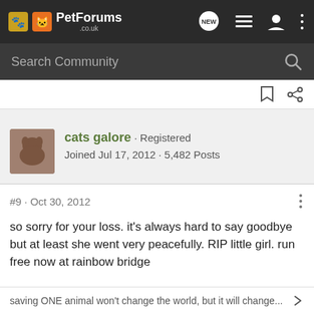PetForums .co.uk
Search Community
cats galore · Registered
Joined Jul 17, 2012 · 5,482 Posts
#9 · Oct 30, 2012
so sorry for your loss. it's always hard to say goodbye but at least she went very peacefully. RIP little girl. run free now at rainbow bridge
saving ONE animal won't change the world, but it will change...